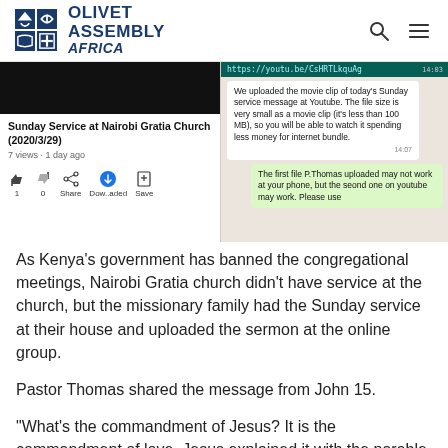OLIVET ASSEMBLY AFRICA
[Figure (screenshot): Screenshot showing a YouTube video titled 'Sunday Service at Nairobi Gratia Church (2020/3/29)' with 7 views, 1 day ago, and action buttons (like, dislike, share, download, save), alongside a WhatsApp chat showing messages about uploading a movie clip of the Sunday service to YouTube.]
As Kenya's government has banned the congregational meetings, Nairobi Gratia church didn't have service at the church, but the missionary family had the Sunday service at their house and uploaded the sermon at the online group.
Pastor Thomas shared the message from John 15.
"What's the commandment of Jesus? It is the commandment of love. Jesus explained it with the parable of the vine tree and branch. Jesus used the parable of vine many times. Luke 13:6-9, he said that God is waiting for the